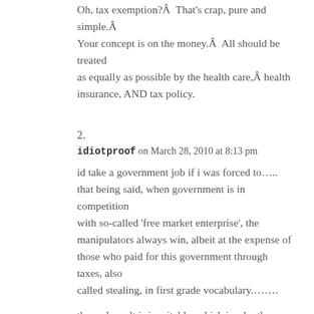Oh, tax exemption?Â  That's crap, pure and simple.Â Your concept is on the money.Â  All should be treated as equally as possible by the health care,Â health insurance, AND tax policy.
2.
idiotproof on March 28, 2010 at 8:13 pm
id take a government job if i was forced to….that being said, when government is in competition with so-called 'free market enterprise', the manipulators always win, albeit at the expense of those who paid for this government through taxes, also called stealing, in first grade vocabulary.…….
the end result is inevitable, which is why the Deity left itself out of the equation, so that the mankind that follows suit, will eventually realize the vein pursuits of the flesh and the mentality of the arrogant will finally culminate in the destruction of its own self, by its own